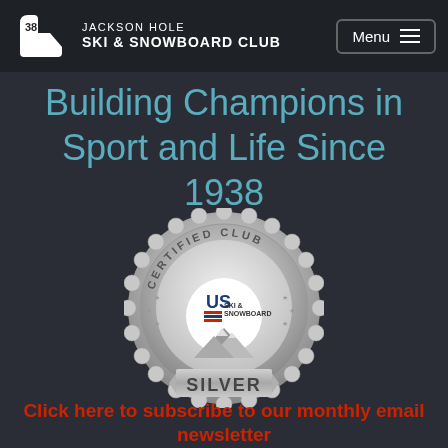Jackson Hole Ski & Snowboard Club — Menu
Building Champions in Sport and Life Since 1938
[Figure (logo): US Ski & Snowboard Certified Club Silver badge — a silver medal/seal with scalloped edge, text 'CERTIFIED CLUB' arcing at top, US Ski & Snowboard logo in center with mountain graphic, and 'SILVER' ribbon banner at bottom]
Click here to subscribe to our monthly email newsletter